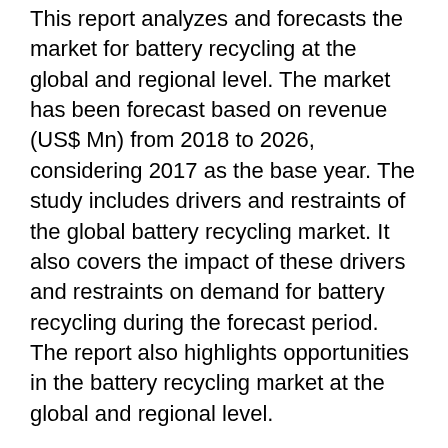This report analyzes and forecasts the market for battery recycling at the global and regional level. The market has been forecast based on revenue (US$ Mn) from 2018 to 2026, considering 2017 as the base year. The study includes drivers and restraints of the global battery recycling market. It also covers the impact of these drivers and restraints on demand for battery recycling during the forecast period. The report also highlights opportunities in the battery recycling market at the global and regional level.
The report includes a detailed value chain analysis, which provides a comprehensive view of the global battery recycling market. Porter's Five Forces model for the battery recycling market has also been